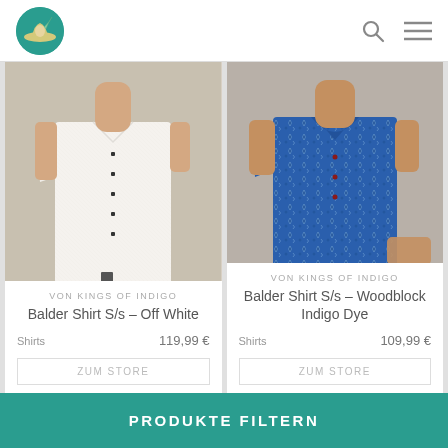[Figure (logo): Green circle logo with hat/adventurer icon in cream/yellow]
[Figure (photo): Man wearing white short-sleeve linen button-up shirt (Balder Shirt S/s Off White) by Kings of Indigo]
VON KINGS OF INDIGO
Balder Shirt S/s – Off White
Shirts
119,99 €
ZUM STORE
[Figure (photo): Man wearing blue patterned short-sleeve shirt (Balder Shirt S/s Woodblock Indigo Dye) by Kings of Indigo]
VON KINGS OF INDIGO
Balder Shirt S/s – Woodblock Indigo Dye
Shirts
109,99 €
ZUM STORE
PRODUKTE FILTERN